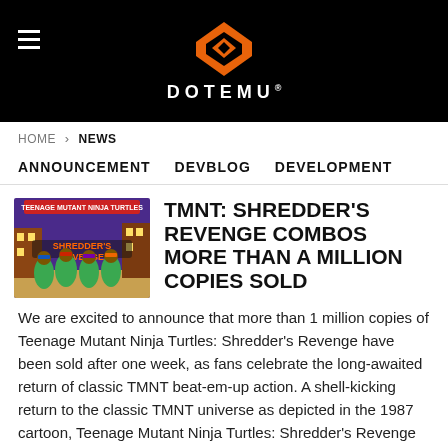DOTEMU
HOME › NEWS
ANNOUNCEMENT   DEVBLOG   DEVELOPMENT
[Figure (illustration): TMNT Shredder's Revenge game cover art showing the four Ninja Turtles in colorful artwork]
TMNT: SHREDDER'S REVENGE COMBOS MORE THAN A MILLION COPIES SOLD
We are excited to announce that more than 1 million copies of Teenage Mutant Ninja Turtles: Shredder's Revenge have been sold after one week, as fans celebrate the long-awaited return of classic TMNT beat-em-up action. A shell-kicking return to the classic TMNT universe as depicted in the 1987 cartoon, Teenage Mutant Ninja Turtles: Shredder's Revenge